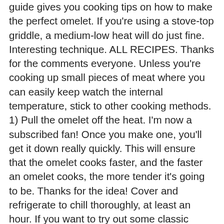guide gives you cooking tips on how to make the perfect omelet. If you're using a stove-top griddle, a medium-low heat will do just fine. Interesting technique. ALL RECIPES. Thanks for the comments everyone. Unless you're cooking up small pieces of meat where you can easily keep watch the internal temperature, stick to other cooking methods. 1) Pull the omelet off the heat. I'm now a subscribed fan! Once you make one, you'll get it down really quickly. This will ensure that the omelet cooks faster, and the faster an omelet cooks, the more tender it's going to be. Thanks for the idea! Cover and refrigerate to chill thoroughly, at least an hour. If you want to try out some classic cook-out fare like burgers, hot dogs and corn-on-the-cob, try them and be amazed at the flavor you get from griddle seasoning and the ease with which you cook everything to perfection. I love eggs and I love omlettes. Search. Some fillers you may not want to cook ahead of time, but they won't cook much in this omelet. Then walk away. Let them cook: As soon as curds begin to form (that's the stuff that looks like scrambled eggs), lift the pan and tilt it around until the excess liquid pours off the top of the curds and into the pan. They'll stay right where you put them. Then quickly add